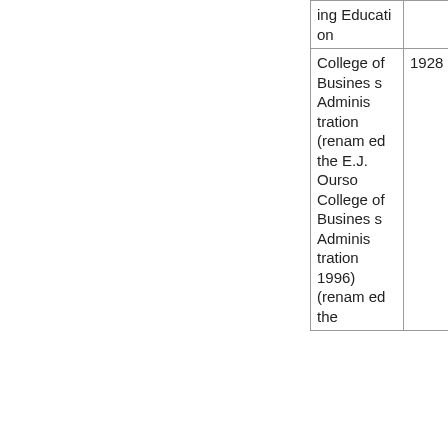| ing Education |  |
| College of Business Administration (renamed the E.J. Ourso College of Business Administration 1996) (renamed the | 1928 |